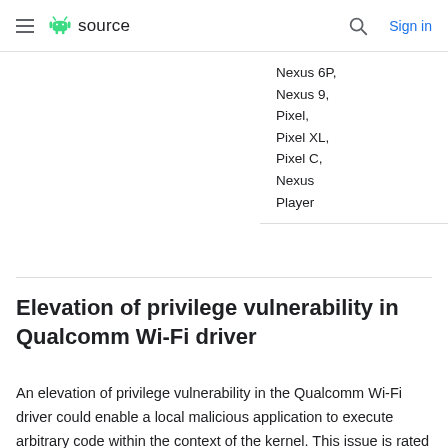≡ android source | Sign in
Nexus 6P, Nexus 9, Pixel, Pixel XL, Pixel C, Nexus Player
Elevation of privilege vulnerability in Qualcomm Wi-Fi driver
An elevation of privilege vulnerability in the Qualcomm Wi-Fi driver could enable a local malicious application to execute arbitrary code within the context of the kernel. This issue is rated as Moderate because it first requires compromising a privileged process and because of vulnerability specific details which limit the impact of the